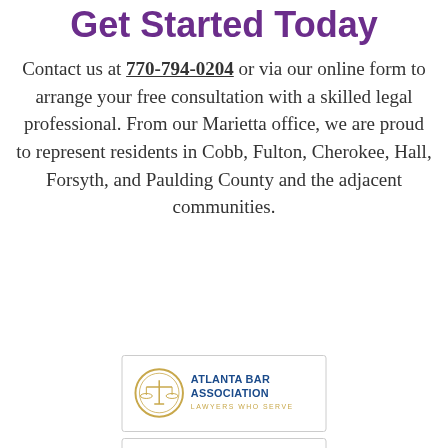Get Started Today
Contact us at 770-794-0204 or via our online form to arrange your free consultation with a skilled legal professional. From our Marietta office, we are proud to represent residents in Cobb, Fulton, Cherokee, Hall, Forsyth, and Paulding County and the adjacent communities.
[Figure (logo): Atlanta Bar Association logo — gold scales-of-justice seal on left, blue text 'Atlanta Bar Association' and gold text 'Lawyers Who Serve' on right]
[Figure (logo): Georgia Association of (something) logo — text 'Georgia Association' above large stylized 'GAYL' letters]